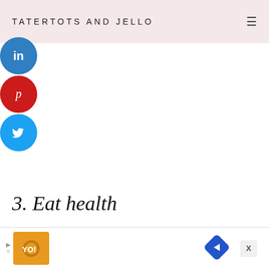TATERTOTS AND JELLO
[Figure (illustration): Social share buttons: LinkedIn (blue circle with 'in' icon), Pinterest (red circle with 'p' icon), Twitter (cyan circle with bird icon)]
3. Eat health
I'm pretty good abou
My problem is snack
am going to try to eat healthier snacks at night. I
have a bit of a sweet tooth, so when I get a sweet
[Figure (infographic): Advertisement banner at bottom with orange icon and navigation arrow icon, with close X button]